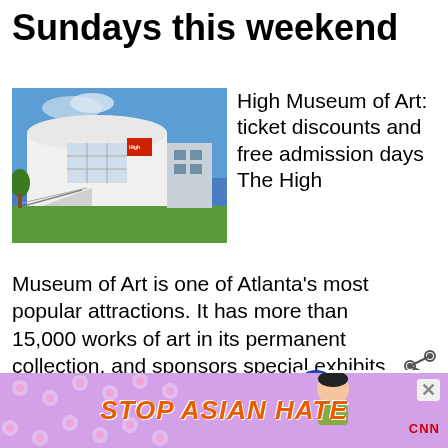Sundays this weekend
[Figure (photo): Exterior photo of the High Museum of Art building - a modern white curved building with glass and concrete architecture, green lawn in front, blue sky]
High Museum of Art: ticket discounts and free admission days The High Museum of Art is one of Atlanta's most popular attractions. It has more than 15,000 works of art in its permanent collection, and sponsors special exhibits several times a … [Read more...]
4 Atlanta free museu...
[Figure (infographic): Advertisement banner: STOP ASIAN HATE with flower decorations on a purple/pink background, with a cartoon figure and CNN logo]